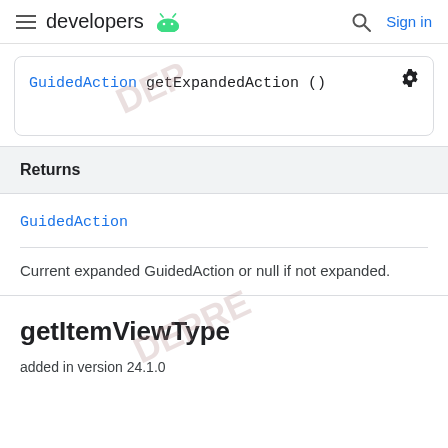developers [android logo] | Search | Sign in
GuidedAction getExpandedAction ()
Returns
GuidedAction
Current expanded GuidedAction or null if not expanded.
getItemViewType
added in version 24.1.0